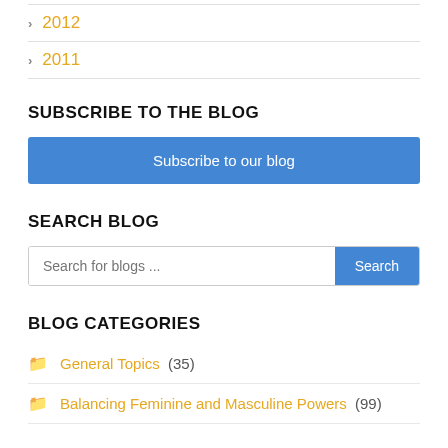2012
2011
SUBSCRIBE TO THE BLOG
Subscribe to our blog
SEARCH BLOG
Search for blogs ...
BLOG CATEGORIES
General Topics (35)
Balancing Feminine and Masculine Powers (99)